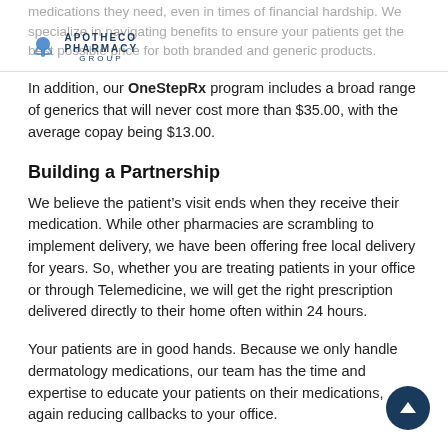medications they need, even in times of financial hardship. We specialize in navigating benefits to ensure your patients get the best possible price for both branded and generic products.
In addition, our OneStepRx program includes a broad range of generics that will never cost more than $35.00, with the average copay being $13.00.
Building a Partnership
We believe the patient’s visit ends when they receive their medication. While other pharmacies are scrambling to implement delivery, we have been offering free local delivery for years. So, whether you are treating patients in your office or through Telemedicine, we will get the right prescription delivered directly to their home often within 24 hours.
Your patients are in good hands. Because we only handle dermatology medications, our team has the time and expertise to educate your patients on their medications, again reducing callbacks to your office.